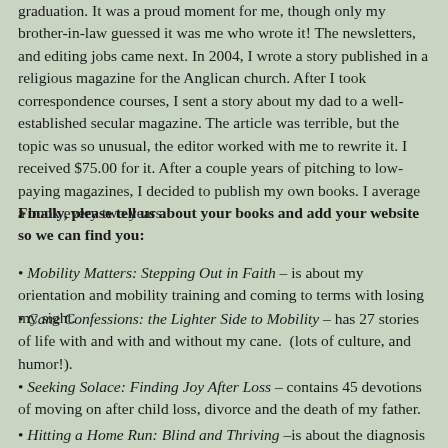graduation. It was a proud moment for me, though only my brother-in-law guessed it was me who wrote it! The newsletters, and editing jobs came next. In 2004, I wrote a story published in a religious magazine for the Anglican church. After I took correspondence courses, I sent a story about my dad to a well-established secular magazine. The article was terrible, but the topic was so unusual, the editor worked with me to rewrite it. I received $75.00 for it. After a couple years of pitching to low-paying magazines, I decided to publish my own books. I average a book every two years.
Finally, please tell us about your books and add your website so we can find you:
Mobility Matters: Stepping Out in Faith – is about my orientation and mobility training and coming to terms with losing my sight.
Cane Confessions: the Lighter Side to Mobility – has 27 stories of life with and with and without my cane.  (lots of culture, and humor!).
Seeking Solace: Finding Joy After Loss – contains 45 devotions of moving on after child loss, divorce and the death of my father.
Hitting a Home Run: Blind and Thriving –is about the diagnosis of my eye condition and subsequent career decisions (e-book).